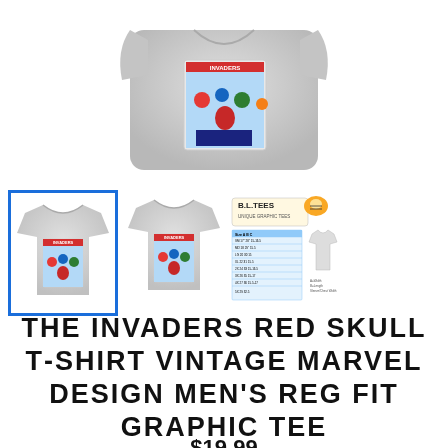[Figure (photo): Main product photo: light gray t-shirt with The Invaders Red Skull vintage Marvel comic book design graphic tee, shown folded/laid flat from the front]
[Figure (photo): Three thumbnail images: (1) selected thumbnail with blue border showing t-shirt front with Invaders graphic, (2) second thumbnail showing t-shirt front with Invaders graphic, (3) B.L. Tees brand logo with size chart table]
THE INVADERS RED SKULL T-SHIRT VINTAGE MARVEL DESIGN MEN'S REG FIT GRAPHIC TEE
$19.99